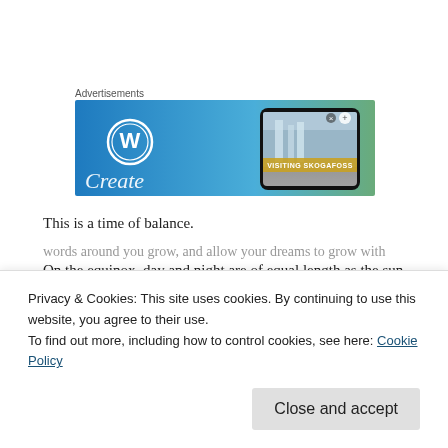Advertisements
[Figure (illustration): WordPress advertisement banner showing the WordPress logo on a blue gradient background with a smartphone displaying a travel photo captioned 'VISITING SKOGAFOSS' and the word 'Create' visible at the bottom left.]
This is a time of balance.
On the equinox, day and night are of equal length as the sun crosses the equator. Today, we experience the same amount of darkness and light—outside and within ourselves. Take a
Privacy & Cookies: This site uses cookies. By continuing to use this website, you agree to their use.
To find out more, including how to control cookies, see here: Cookie Policy
Close and accept
words around you grow, and allow your dreams to grow with